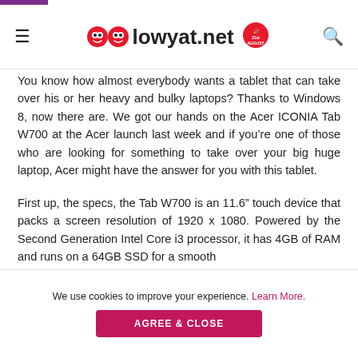lowyat.net
You know how almost everybody wants a tablet that can take over his or her heavy and bulky laptops? Thanks to Windows 8, now there are. We got our hands on the Acer ICONIA Tab W700 at the Acer launch last week and if you’re one of those who are looking for something to take over your big huge laptop, Acer might have the answer for you with this tablet.
First up, the specs, the Tab W700 is an 11.6” touch device that packs a screen resolution of 1920 x 1080. Powered by the Second Generation Intel Core i3 processor, it has 4GB of RAM and runs on a 64GB SSD for a smooth
We use cookies to improve your experience. Learn More.